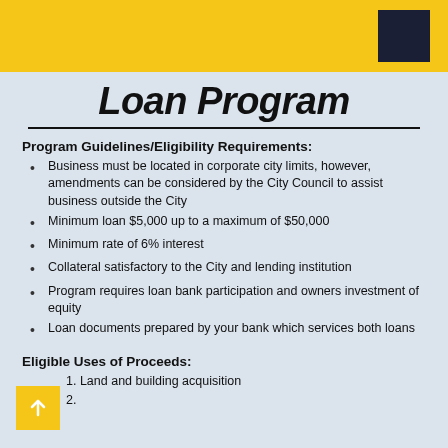Loan Program header bar with dark square logo
Loan Program
Program Guidelines/Eligibility Requirements:
Business must be located in corporate city limits, however, amendments can be considered by the City Council to assist business outside the City
Minimum loan $5,000 up to a maximum of $50,000
Minimum rate of 6% interest
Collateral satisfactory to the City and lending institution
Program requires loan bank participation and owners investment of equity
Loan documents prepared by your bank which services both loans
Eligible Uses of Proceeds:
1. Land and building acquisition
2. (partially visible)